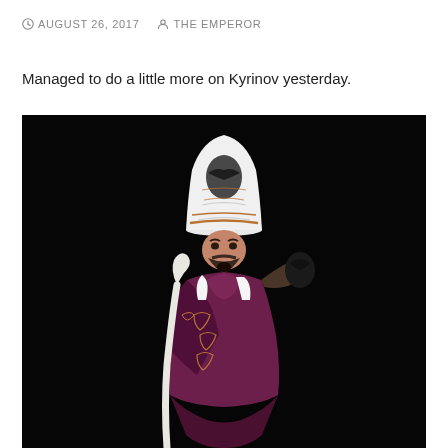AUGUST 26, 2017  THE EMPEROR
Managed to do a little more on Kyrinov yesterday.
[Figure (photo): A painted miniature figure of a bishop-like character (Kyrinov) with ornate mitre hat decorated with eagle motifs, purple robes, and a staff, photographed against a black background.]